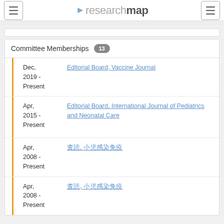researchmap
Committee Memberships 13
Dec, 2019 - Present | Editorial Board, Vaccine Journal
Apr, 2015 - Present | Editorial Board, International Journal of Pediatrics and Neonatal Care
Apr, 2008 - Present | 査読, 小児感染免疫
Apr, 2008 - Present | 査読, 小児感染免疫